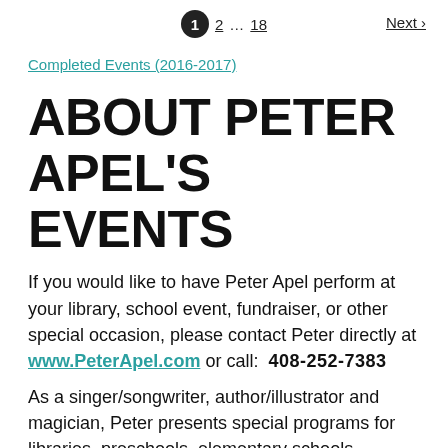1  2  ...  18  Next ›
Completed Events (2016-2017)
ABOUT PETER APEL'S EVENTS
If you would like to have Peter Apel perform at your library, school event, fundraiser, or other special occasion, please contact Peter directly at www.PeterApel.com or call:  408-252-7383
As a singer/songwriter, author/illustrator and magician, Peter presents special programs for libraries, preschools, elementary schools, fundraisers, and other events.